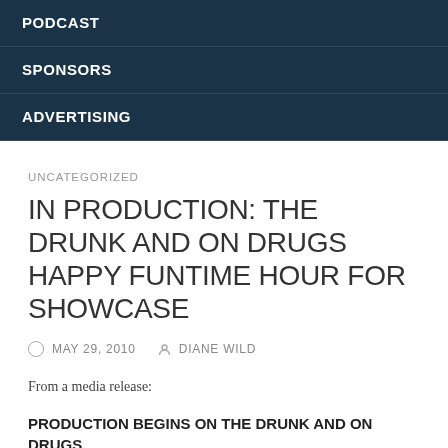PODCAST
SPONSORS
ADVERTISING
UNCATEGORIZED
IN PRODUCTION: THE DRUNK AND ON DRUGS HAPPY FUNTIME HOUR FOR SHOWCASE
MAY 29, 2010   DIANE WILD
From a media release:
PRODUCTION BEGINS ON THE DRUNK AND ON DRUGS HAPPY FUNTIME HOUR IN HALIFAX, NOVA SCOTIA